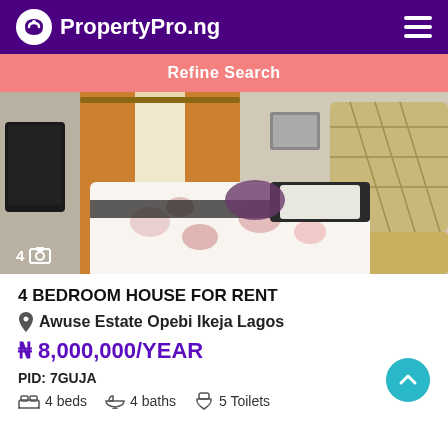PropertyPro.ng
Refine Search
[Figure (photo): Interior photo of a furnished bedroom with a large upholstered headboard, floral bedding, orange curtains, and a TV on the left wall. Shows '4' with image icon overlay at bottom left.]
4 BEDROOM HOUSE FOR RENT
Awuse Estate Opebi Ikeja Lagos
₦ 8,000,000/YEAR
PID: 7GUJA
4 beds  4 baths  5 Toilets